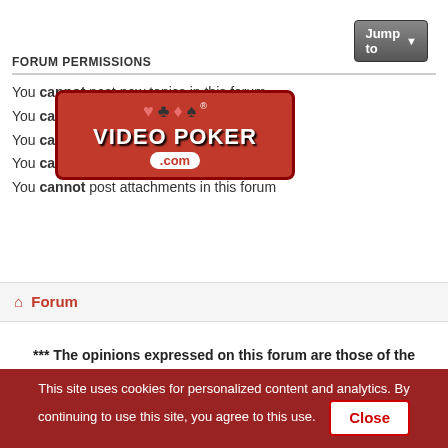FORUM PERMISSIONS
You cannot post new topics in this forum
You cannot reply to topics in this forum
You cannot edit your posts in this forum
You cannot delete your posts in this forum
You cannot post attachments in this forum
[Figure (logo): VideoPoker.com logo with card suits and red badge]
Forum
*** The opinions expressed on this forum are those of the authors and do not represent the official position of Action Gaming, Inc. ***
[Figure (photo): Black advertisement area with partially visible ad]
Doctors Stunned! Mole & Skin Tag Removal
n/a
This site uses cookies for personalized content and analytics. By continuing to use this site, you agree to this use.